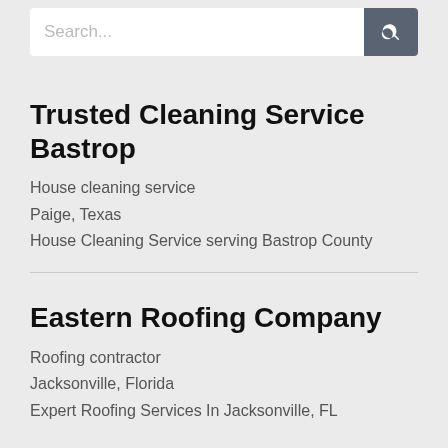[Figure (screenshot): Search bar with text placeholder 'Search...' and a dark grey search button with magnifying glass icon]
Trusted Cleaning Service Bastrop
House cleaning service
Paige, Texas
House Cleaning Service serving Bastrop County
Eastern Roofing Company
Roofing contractor
Jacksonville, Florida
Expert Roofing Services In Jacksonville, FL